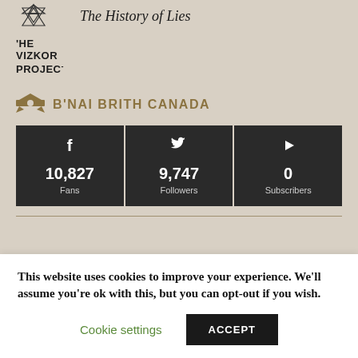The History of Lies
[Figure (logo): The Nizkor Project logo with Star of David]
[Figure (logo): B'nai Brith Canada logo with eagle]
B'NAI BRITH CANADA
[Figure (infographic): Social media stats: Facebook 10,827 Fans, Twitter 9,747 Followers, YouTube 0 Subscribers]
This website uses cookies to improve your experience. We'll assume you're ok with this, but you can opt-out if you wish.
Cookie settings
ACCEPT